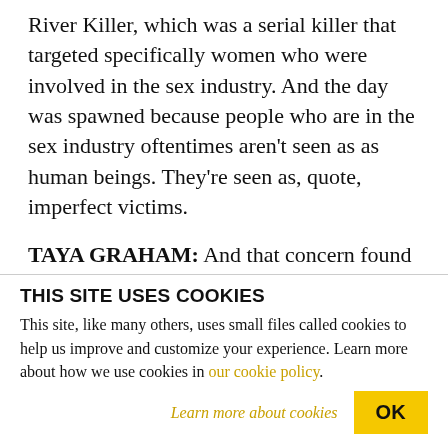River Killer, which was a serial killer that targeted specifically women who were involved in the sex industry. And the day was spawned because people who are in the sex industry oftentimes aren't seen as as human beings. They're seen as, quote, imperfect victims.
TAYA GRAHAM: And that concern found form in an intricate memoriam: An installation that memorialized victims of violence in Baltimore and beyond.
THIS SITE USES COOKIES
This site, like many others, uses small files called cookies to help us improve and customize your experience. Learn more about how we use cookies in our cookie policy.
Learn more about cookies